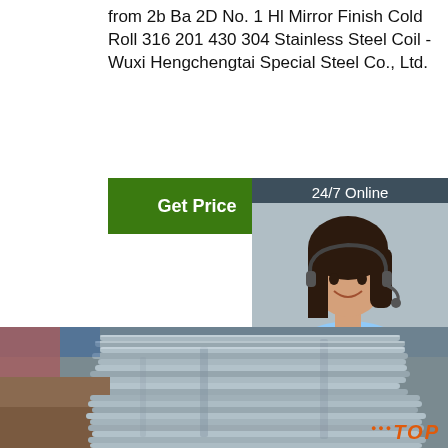from 2b Ba 2D No. 1 Hl Mirror Finish Cold Roll 316 201 430 304 Stainless Steel Coil - Wuxi Hengchengtai Special Steel Co., Ltd.
[Figure (other): Green 'Get Price' button]
[Figure (other): Dark blue-grey panel with agent photo, '24/7 Online' label, 'Click here for free chat!' text, and orange QUOTATION button]
[Figure (photo): Two photographs of stacked stainless steel rods/bars piled outdoors, with a TOP logo watermark in the lower right corner]